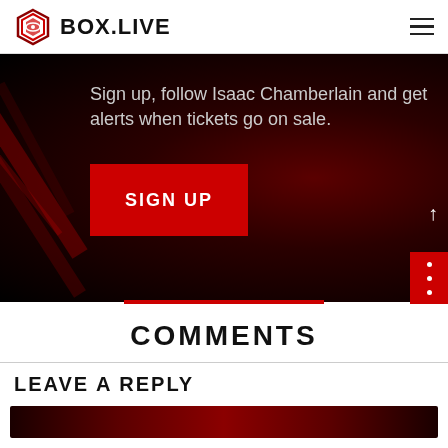BOX.LIVE
Sign up, follow Isaac Chamberlain and get alerts when tickets go on sale.
SIGN UP
COMMENTS
LEAVE A REPLY